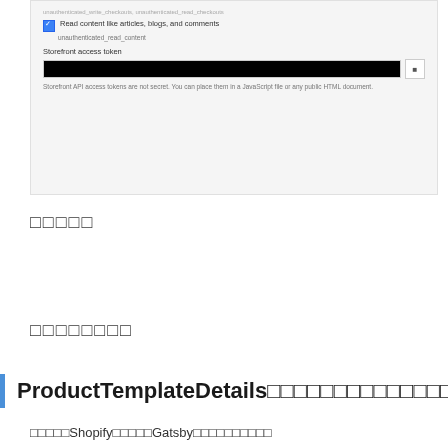[Figure (screenshot): Shopify admin UI screenshot showing storefront access token settings: a checked checkbox for 'Read content like articles, blogs, and comments' with label 'unauthenticated_read_content', a Storefront access token field with a redacted token value, and a copy button. Note text reads: 'Storefront API access tokens are not secret. You can place them in a JavaScript file or any public HTML document.']
□□□□□
□□□□□□□□
ProductTemplateDetails□□□□□□□□□□□□□□□□
□□□□□Shopify□□□□□Gatsby□□□□□□□□□□